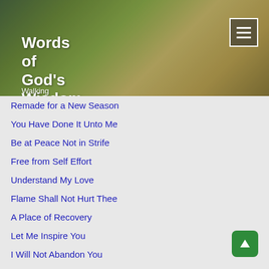Words of God's Wisdom
Walking on the Heights with God
Remade for a New Season
You Have Done It Unto Me
Be at Peace Not in Strife
Free from Self Effort
Understand My Love
Flame Shall Not Hurt Thee
A Place of Recovery
Let Me Inspire You
I Will Not Abandon You
Freedom, Supply, & Purpose
Seasons of God
Limitless Outpouring
Stand for the Right Way